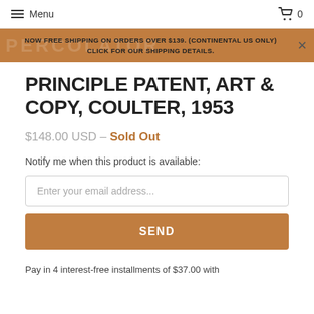Menu   0
NOW FREE SHIPPING ON ORDERS OVER $139. (CONTINENTAL US ONLY) CLICK FOR OUR SHIPPING DETAILS.
PRINCIPLE PATENT, ART & COPY, COULTER, 1953
$148.00 USD – Sold Out
Notify me when this product is available:
Enter your email address...
SEND
Pay in 4 interest-free installments of $37.00 with